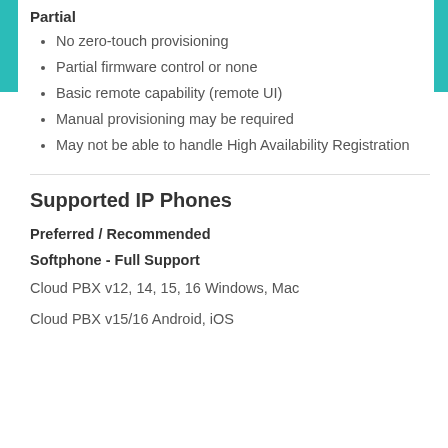Partial
No zero-touch provisioning
Partial firmware control or none
Basic remote capability (remote UI)
Manual provisioning may be required
May not be able to handle High Availability Registration
Supported IP Phones
Preferred / Recommended
Softphone - Full Support
Cloud PBX v12, 14, 15, 16 Windows, Mac
Cloud PBX v15/16 Android, iOS